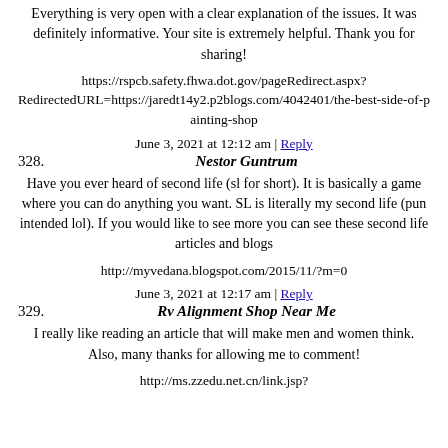Everything is very open with a clear explanation of the issues. It was definitely informative. Your site is extremely helpful. Thank you for sharing!
https://rspcb.safety.fhwa.dot.gov/pageRedirect.aspx?RedirectedURL=https://jaredt14y2.p2blogs.com/4042401/the-best-side-of-painting-shop
June 3, 2021 at 12:12 am | Reply
328. Nestor Guntrum
Have you ever heard of second life (sl for short). It is basically a game where you can do anything you want. SL is literally my second life (pun intended lol). If you would like to see more you can see these second life articles and blogs
http://myvedana.blogspot.com/2015/11/?m=0
June 3, 2021 at 12:17 am | Reply
329. Rv Alignment Shop Near Me
I really like reading an article that will make men and women think. Also, many thanks for allowing me to comment!
http://ms.zzedu.net.cn/link.jsp?